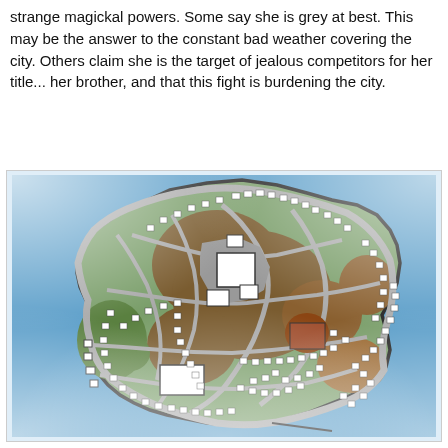strange magickal powers. Some say she is grey at best. This may be the answer to the constant bad weather covering the city. Others claim she is the target of jealous competitors for her title... her brother, and that this fight is burdening the city.
[Figure (map): Top-down illustrated map of a fictional island city. The island has irregular coastline with a black border, surrounded by blue water with white cloud-like fog effects at the edges. The interior shows brown hilly terrain, grey roads winding throughout, numerous small white rectangular buildings/lots, green areas (parks/vegetation), a large grey central complex with white buildings, and brown/rust-colored structures. Roads curve around the island's perimeter and connect interior neighborhoods.]